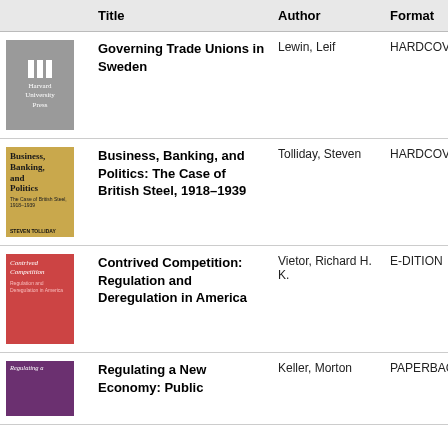|  | Title | Author | Format |
| --- | --- | --- | --- |
| [cover] | Governing Trade Unions in Sweden | Lewin, Leif | HARDCOVER |
| [cover] | Business, Banking, and Politics: The Case of British Steel, 1918–1939 | Tolliday, Steven | HARDCOVER |
| [cover] | Contrived Competition: Regulation and Deregulation in America | Vietor, Richard H. K. | E-DITION |
| [cover] | Regulating a New Economy: Public | Keller, Morton | PAPERBACK |